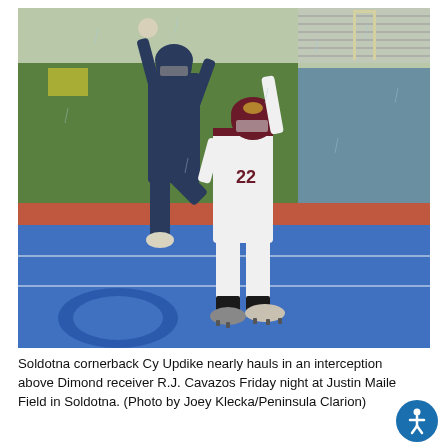[Figure (photo): Two football players mid-action on a blue artificial turf field. A player in navy blue uniform jumps high with one leg raised while a player in white and maroon uniform (number 22, Soldotna cornerback Cy Updike) reaches up attempting an interception. The background shows green grass, a red track, and metal bleachers.]
Soldotna cornerback Cy Updike nearly hauls in an interception above Dimond receiver R.J. Cavazos Friday night at Justin Maile Field in Soldotna. (Photo by Joey Klecka/Peninsula Clarion)